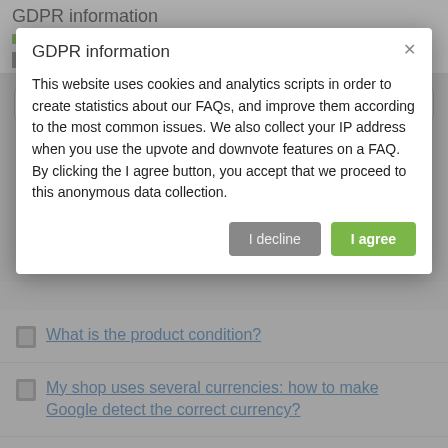GDPR information — FAQ BusinessTech
This website uses cookies and analytics scripts in order to create statistics about our FAQs, and improve them according to the most common issues. We also collect your IP address when you use the upvote and downvote features on a FAQ. By clicking the I agree button, you accept that we proceed to this anonymous data collection.
How to match my products with Google categories?
How to exclude products from certain advertising channels?
How to indicate the availability of products on Google Shopping?
What is the product condition?
My shop uses several currencies: how to make Google detect the correct currency?